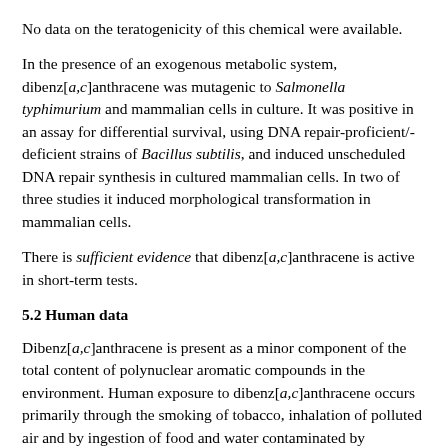No data on the teratogenicity of this chemical were available.
In the presence of an exogenous metabolic system, dibenz[a,c]anthracene was mutagenic to Salmonella typhimurium and mammalian cells in culture. It was positive in an assay for differential survival, using DNA repair-proficient/-deficient strains of Bacillus subtilis, and induced unscheduled DNA repair synthesis in cultured mammalian cells. In two of three studies it induced morphological transformation in mammalian cells.
There is sufficient evidence that dibenz[a,c]anthracene is active in short-term tests.
5.2 Human data
Dibenz[a,c]anthracene is present as a minor component of the total content of polynuclear aromatic compounds in the environment. Human exposure to dibenz[a,c]anthracene occurs primarily through the smoking of tobacco, inhalation of polluted air and by ingestion of food and water contaminated by combustion effluents.
5.3 Evaluation
There is limited evidence that dibenz[a,c]anthracene is